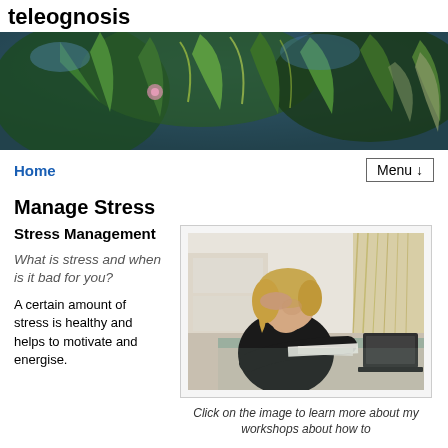teleognosis
[Figure (photo): Hero banner image of lush green and blue foliage/ferns outdoors]
Home  Menu ↓
Manage Stress
Stress Management
What is stress and when is it bad for you?
A certain amount of stress is healthy and helps to motivate and energise.
[Figure (photo): Woman with blonde hair in black top sitting at desk looking stressed, head in hand, papers and laptop in front of her]
Click on the image to learn more about my workshops about how to